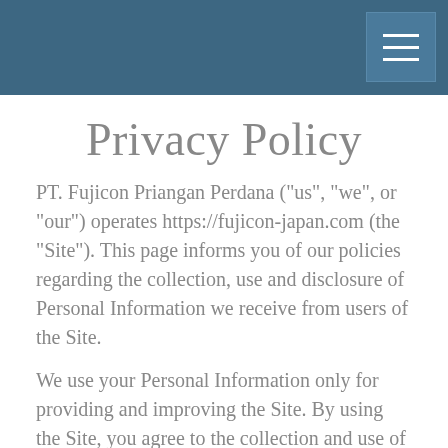Privacy Policy
PT. Fujicon Priangan Perdana ("us", "we", or "our") operates https://fujicon-japan.com (the "Site"). This page informs you of our policies regarding the collection, use and disclosure of Personal Information we receive from users of the Site.
We use your Personal Information only for providing and improving the Site. By using the Site, you agree to the collection and use of information in accordance with this policy.
Information Collection And